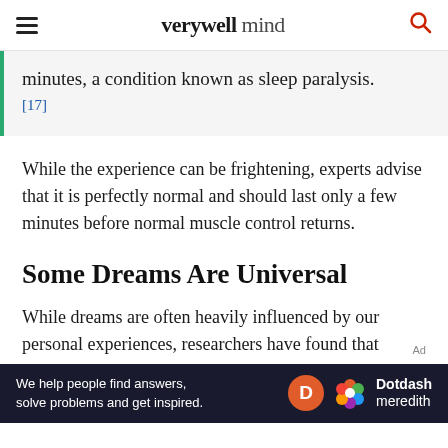verywell mind
minutes, a condition known as sleep paralysis. [17]
While the experience can be frightening, experts advise that it is perfectly normal and should last only a few minutes before normal muscle control returns.
Some Dreams Are Universal
While dreams are often heavily influenced by our personal experiences, researchers have found that
Ad
[Figure (other): Dotdash Meredith advertisement banner with text 'We help people find answers, solve problems and get inspired.' and Dotdash Meredith logo]